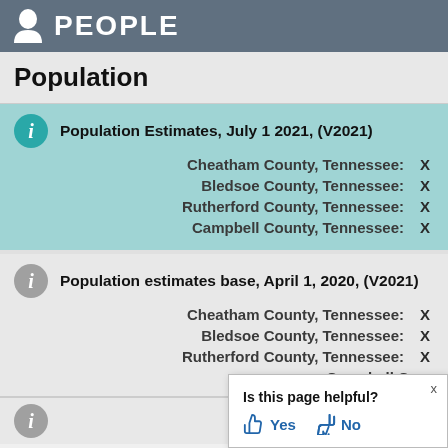PEOPLE
Population
Population Estimates, July 1 2021, (V2021)
Cheatham County, Tennessee: X
Bledsoe County, Tennessee: X
Rutherford County, Tennessee: X
Campbell County, Tennessee: X
Population estimates base, April 1, 2020, (V2021)
Cheatham County, Tennessee: X
Bledsoe County, Tennessee: X
Rutherford County, Tennessee: X
Campbell County, Tennessee: X
Is this page helpful? Yes No